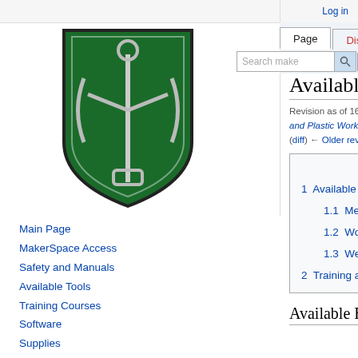Log in
[Figure (logo): MakerSpace wiki shield logo — green shield with wrench and tools]
Main Page
MakerSpace Access
Safety and Manuals
Available Tools
Training Courses
Software
Supplies
Other Resources
Project Guides and Tutorials
MakerSpace Digital Library
Gallery
People
Available Tools
Revision as of 16:33, 6 December 2016 by Cedric (talk | contribs) (→Metal and Plastic Working)
(diff) ← Older revision | Latest revision (diff) | Newer revision → (diff)
| Contents [hide] |
| --- |
| 1  Available Equipment |
| 1.1  Metal and Plastic Working |
| 1.2  Wood Working |
| 1.3  Welding |
| 2  Training and Access |
Available Equipment